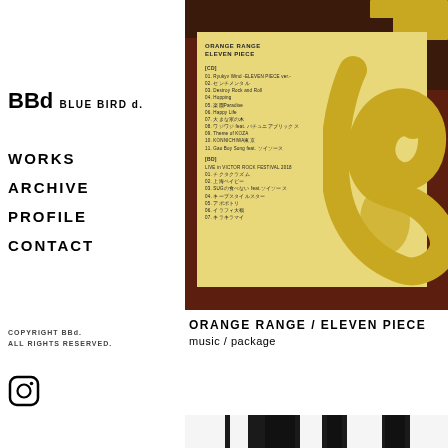BBd BLUE BIRD d.
WORKS
ARCHIVE
PROFILE
CONTACT
COPYRIGHT BBd.
ALL RIGHTS RESERVED.
[Figure (photo): Photo of ORANGE RANGE ELEVEN PIECE album booklet/liner notes on dark brown background with gold graphic shapes]
ORANGE RANGE / ELEVEN PIECE
music / package
[Figure (photo): Bottom strip photo, black and white striped pattern]